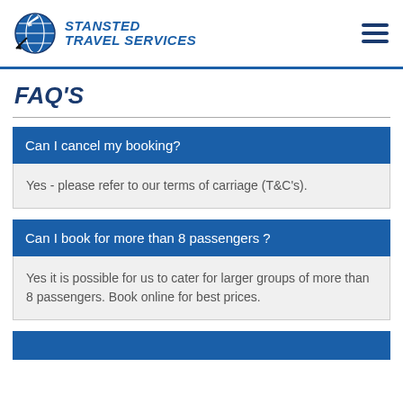[Figure (logo): Stansted Travel Services logo with globe and airplane graphic]
FAQ'S
Can I cancel my booking?
Yes - please refer to our terms of carriage (T&C's).
Can I book for more than 8 passengers ?
Yes it is possible for us to cater for larger groups of more than 8 passengers. Book online for best prices.